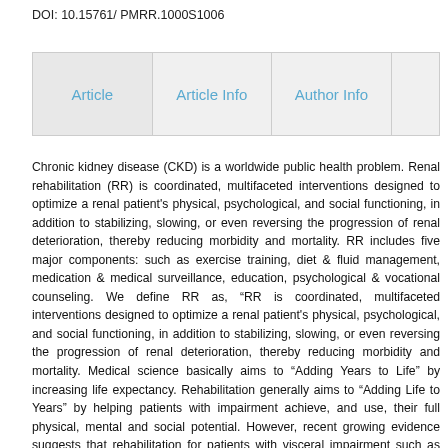DOI: 10.15761/ PMRR.1000S1006
| Article | Article Info | Author Info |  |
| --- | --- | --- | --- |
Chronic kidney disease (CKD) is a worldwide public health problem. Renal rehabilitation (RR) is coordinated, multifaceted interventions designed to optimize a renal patient's physical, psychological, and social functioning, in addition to stabilizing, slowing, or even reversing the progression of renal deterioration, thereby reducing morbidity and mortality. RR includes five major components: such as exercise training, diet & fluid management, medication & medical surveillance, education, psychological & vocational counseling. We define RR as, “RR is coordinated, multifaceted interventions designed to optimize a renal patient's physical, psychological, and social functioning, in addition to stabilizing, slowing, or even reversing the progression of renal deterioration, thereby reducing morbidity and mortality. Medical science basically aims to "Adding Years to Life" by increasing life expectancy. Rehabilitation generally aims to "Adding Life to Years" by helping patients with impairment achieve, and use, their full physical, mental and social potential. However, recent growing evidence suggests that rehabilitation for patients with visceral impairment such as cardiac, renal